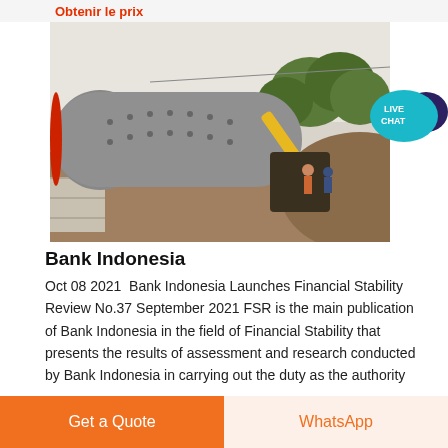Obtenir le prix
[Figure (photo): Industrial ball mill machine on a construction or mining site, with yellow conveyor equipment, dirt mounds, trees in background, and workers visible.]
[Figure (other): Live Chat speech bubble badge icon in teal/dark blue colors with text LIVE CHAT]
Bank Indonesia
Oct 08 2021  Bank Indonesia Launches Financial Stability Review No.37 September 2021 FSR is the main publication of Bank Indonesia in the field of Financial Stability that presents the results of assessment and research conducted by Bank Indonesia in carrying out the duty as the authority